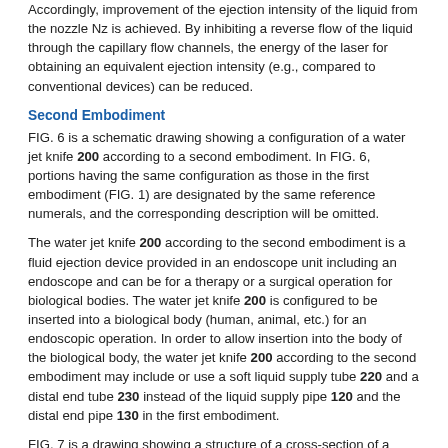Accordingly, improvement of the ejection intensity of the liquid from the nozzle Nz is achieved. By inhibiting a reverse flow of the liquid through the capillary flow channels, the energy of the laser for obtaining an equivalent ejection intensity (e.g., compared to conventional devices) can be reduced.
Second Embodiment
FIG. 6 is a schematic drawing showing a configuration of a water jet knife 200 according to a second embodiment. In FIG. 6, portions having the same configuration as those in the first embodiment (FIG. 1) are designated by the same reference numerals, and the corresponding description will be omitted.
The water jet knife 200 according to the second embodiment is a fluid ejection device provided in an endoscope unit including an endoscope and can be for a therapy or a surgical operation for biological bodies. The water jet knife 200 is configured to be inserted into a biological body (human, animal, etc.) for an endoscopic operation. In order to allow insertion into the body of the biological body, the water jet knife 200 according to the second embodiment may include or use a soft liquid supply tube 220 and a distal end tube 230 instead of the liquid supply pipe 120 and the distal end pipe 130 in the first embodiment.
FIG. 7 is a drawing showing a structure of a cross-section of a distal end portion of the water jet knife 200 taken in the longitudinal direction according to the second embodiment, and FIG. 8 is a cross-sectional view